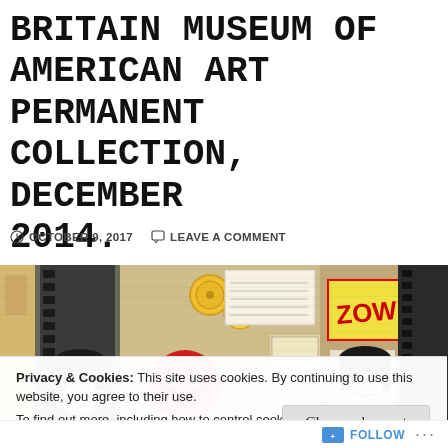BRITAIN MUSEUM OF AMERICAN ART PERMANENT COLLECTION, DECEMBER 2014.
OCTOBER 9, 2017   LEAVE A COMMENT
[Figure (photo): Collage of vintage magazine clippings, comic strips, buttons, handwritten notes, film strips, and pop culture imagery including faces and bold graphic text like 'ZOWIE!']
Privacy & Cookies: This site uses cookies. By continuing to use this website, you agree to their use.
To find out more, including how to control cookies, see here: Cookie Policy
Close and accept
Follow